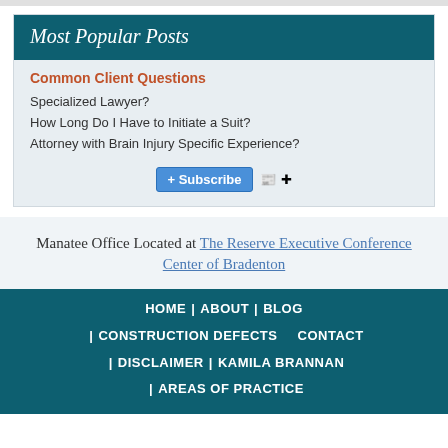Most Popular Posts
Common Client Questions
Specialized Lawyer?
How Long Do I Have to Initiate a Suit?
Attorney with Brain Injury Specific Experience?
Manatee Office Located at The Reserve Executive Conference Center of Bradenton
HOME | ABOUT | BLOG | CONSTRUCTION DEFECTS | CONTACT | DISCLAIMER | KAMILA BRANNAN | AREAS OF PRACTICE